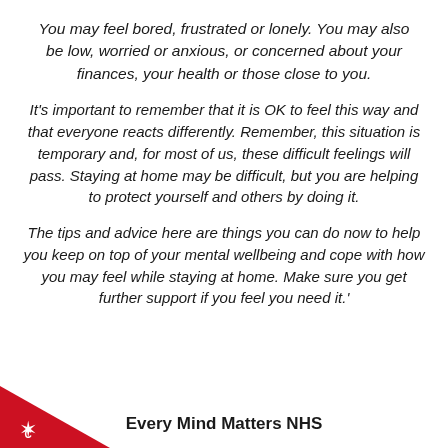You may feel bored, frustrated or lonely. You may also be low, worried or anxious, or concerned about your finances, your health or those close to you.
It's important to remember that it is OK to feel this way and that everyone reacts differently. Remember, this situation is temporary and, for most of us, these difficult feelings will pass. Staying at home may be difficult, but you are helping to protect yourself and others by doing it.
The tips and advice here are things you can do now to help you keep on top of your mental wellbeing and cope with how you may feel while staying at home. Make sure you get further support if you feel you need it.'
Every Mind Matters NHS